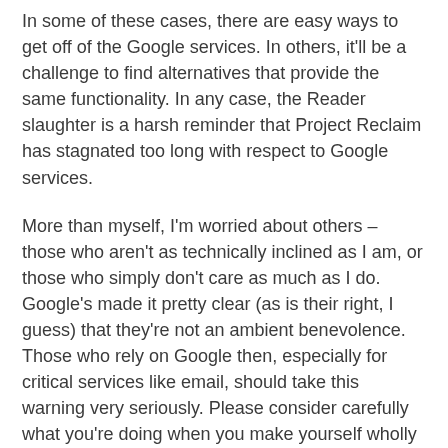In some of these cases, there are easy ways to get off of the Google services. In others, it'll be a challenge to find alternatives that provide the same functionality. In any case, the Reader slaughter is a harsh reminder that Project Reclaim has stagnated too long with respect to Google services.
More than myself, I'm worried about others – those who aren't as technically inclined as I am, or those who simply don't care as much as I do. Google's made it pretty clear (as is their right, I guess) that they're not an ambient benevolence. Those who rely on Google then, especially for critical services like email, should take this warning very seriously. Please consider carefully what you're doing when you make yourself wholly dependent on the whim's of Google's product managers, and consider options that are either free-as-in-speech, or services that you pay for in a traditional way.